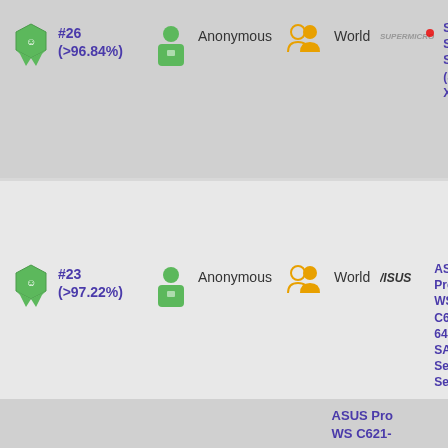[Figure (infographic): Row 1: Rank badge #26 (>96.84%), green person icon, Anonymous label, world/group icons, World label, SuperMicro brand logo, system name SuperMicro Super Server (SuperMicro X11SPA-T), Intel logo partial]
[Figure (infographic): Row 2: Rank badge #23 (>97.22%), green person icon, Anonymous label, world/group icons, World label, ASUS brand logo, system name ASUS Pro WS C621-64L SAGE Series Server, Intel logo partial]
[Figure (infographic): Row 3 (partial): ASUS Pro WS C621- text visible at bottom]